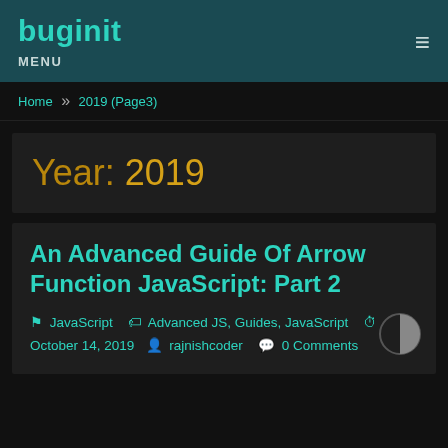buginit MENU
Home » 2019 (Page3)
Year: 2019
An Advanced Guide Of Arrow Function JavaScript: Part 2
JavaScript  Advanced JS, Guides, JavaScript  October 14, 2019  rajnishcoder  0 Comments